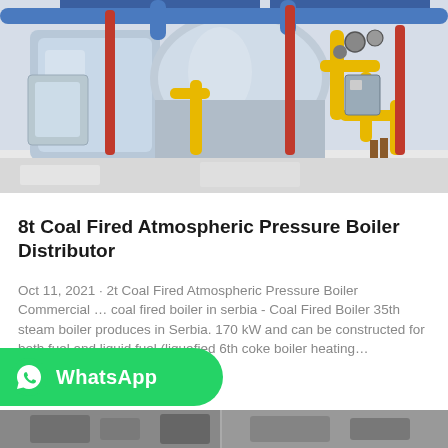[Figure (photo): Industrial boiler room with large cylindrical boilers, blue and yellow pipes, red vertical pipes, gauges and fittings, on a white floor in a clean facility.]
8t Coal Fired Atmospheric Pressure Boiler Distributor
Oct 11, 2021 · 2t Coal Fired Atmospheric Pressure Boiler Commercial … coal fired boiler in serbia - Coal Fired Boiler 35th steam boiler produces in Serbia. 170 kW and can be constructed for both fuel and liquid fuel (liquefied 6th coke boiler heating…
[Figure (logo): WhatsApp button with white phone icon and WhatsApp text on green rounded background]
[Figure (photo): Partial view of another industrial equipment image at the bottom of the page, cut off.]